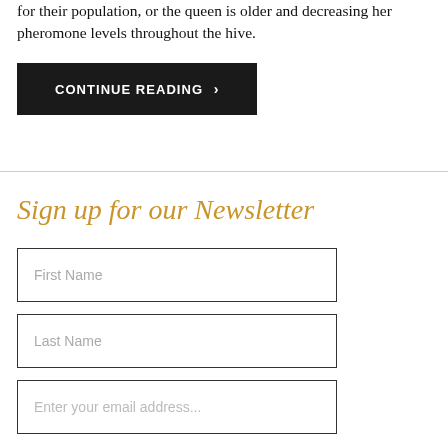for their population, or the queen is older and decreasing her pheromone levels throughout the hive.
CONTINUE READING ›
Sign up for our Newsletter
First Name
Last Name
Enter your email address...